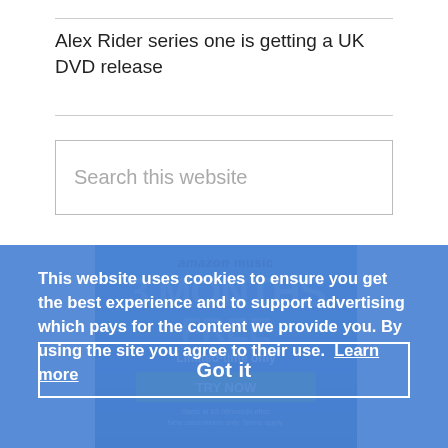Alex Rider series one is getting a UK DVD release
Search this website
[Figure (screenshot): Amazon Music advertisement showing 3 months free offer, limited-time only, with a TRY NOW button and text 'Starts at £8.99/month after. New subscribers only. Terms apply.']
This website uses cookies to ensure you get the best experience and to support advertising which pays for the content we provide you. By using the site you agree to their use.  Learn more
Got it